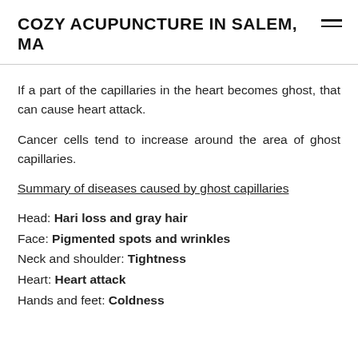COZY ACUPUNCTURE IN SALEM, MA
If a part of the capillaries in the heart becomes ghost, that can cause heart attack.
Cancer cells tend to increase around the area of ghost capillaries.
Summary of diseases caused by ghost capillaries
Head: Hari loss and gray hair
Face: Pigmented spots and wrinkles
Neck and shoulder: Tightness
Heart: Heart attack
Hands and feet: Coldness